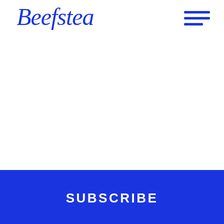[Figure (logo): Beefsteak script logo in blue]
[Figure (other): Hamburger menu icon with three horizontal blue lines]
ORDER ONLINE
SUBSCRIBE